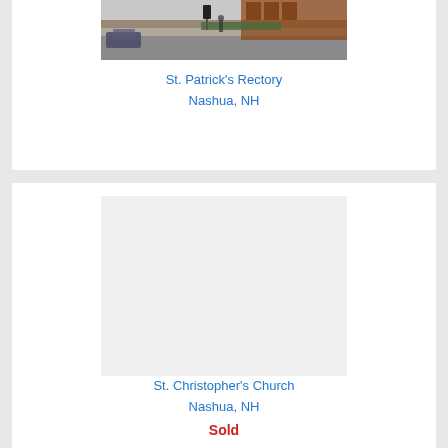[Figure (photo): Street view photo showing a brick building (St. Patrick's Rectory) along a road in Nashua, NH with cars and a person visible]
St. Patrick's Rectory
Nashua, NH
[Figure (photo): Photo of St. Christopher's Church in Nashua, NH (image area appears mostly blank/white in this portion of the page)]
St. Christopher's Church
Nashua, NH
Sold